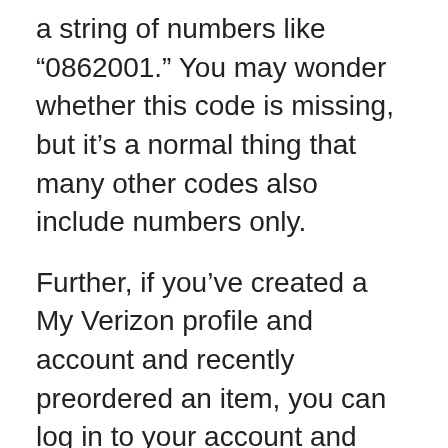a string of numbers like “0862001.” You may wonder whether this code is missing, but it’s a normal thing that many other codes also include numbers only.
Further, if you’ve created a My Verizon profile and account and recently preordered an item, you can log in to your account and click on “My Orders” to check your recent transaction’s location code. It is a popular way to do the Verizon location code lookup.